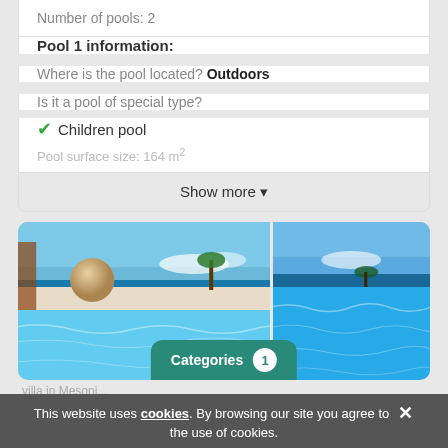Number of pools: 2
Pool 1 information:
Where is the pool located? Outdoors
Is it a pool of special type?
✔ Children pool
Pool surface size: 164 m²
Show more ▾
[Figure (photo): Two side-by-side photos of an outdoor infinity pool with blue water against ocean and sky background]
Categories 1
This website uses cookies. By browsing our site you agree to the use of cookies.